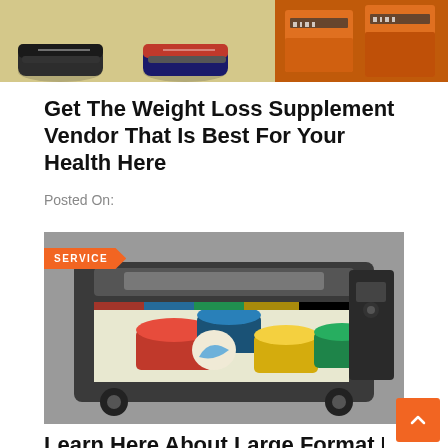[Figure (photo): Top banner with two images: left shows shoes on a floor, right shows orange boxes/packages with barcodes]
Get The Weight Loss Supplement Vendor That Is Best For Your Health Here
Posted On:
[Figure (photo): Large format industrial printer printing colorful paint cans image. Orange SERVICE badge in top-left corner.]
Learn Here About Large Format Printing Companies With This Guide!